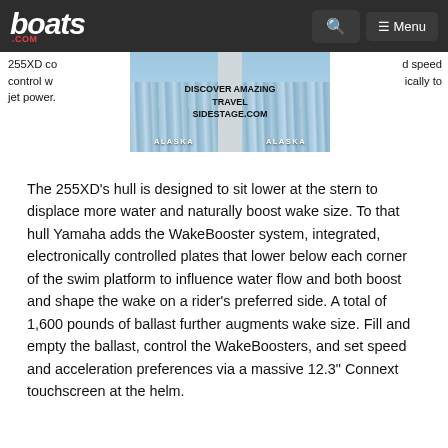boats.com | Menu
255XD control w... d speed control w... ically to jet power.
[Figure (photo): Travel advertisement banner showing Alaska glaciers with text: DISCOVER AMAZING TRAVEL SIDESTAGE.COM and two Alaska glacier images side by side]
The 255XD's hull is designed to sit lower at the stern to displace more water and naturally boost wake size. To that hull Yamaha adds the WakeBooster system, integrated, electronically controlled plates that lower below each corner of the swim platform to influence water flow and both boost and shape the wake on a rider's preferred side. A total of 1,600 pounds of ballast further augments wake size. Fill and empty the ballast, control the WakeBoosters, and set speed and acceleration preferences via a massive 12.3" Connext touchscreen at the helm.